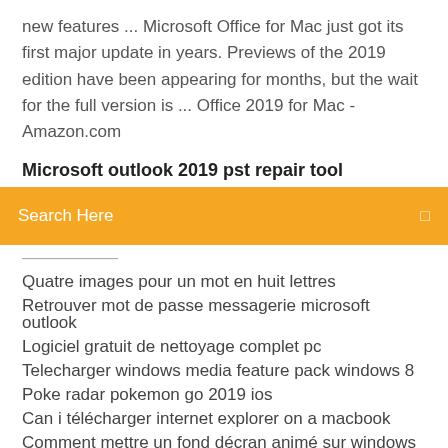new features ... Microsoft Office for Mac just got its first major update in years. Previews of the 2019 edition have been appearing for months, but the wait for the full version is ... Office 2019 for Mac - Amazon.com
Microsoft outlook 2019 pst repair tool
[Figure (screenshot): Orange search bar with text 'Search Here' and a search icon on the right]
Quatre images pour un mot en huit lettres
Retrouver mot de passe messagerie microsoft outlook
Logiciel gratuit de nettoyage complet pc
Telecharger windows media feature pack windows 8
Poke radar pokemon go 2019 ios
Can i télécharger internet explorer on a macbook
Comment mettre un fond décran animé sur windows 7
Angela le chat qui parle jeux
Récupérer photos supprimées sur carte sd gratuitement
Plants vs zombies garden warfare 2 deluxe edition